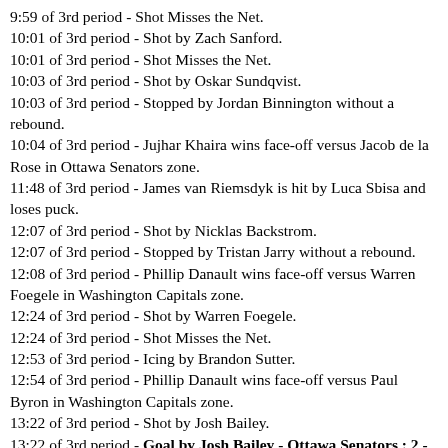9:59 of 3rd period - Shot Misses the Net.
10:01 of 3rd period - Shot by Zach Sanford.
10:01 of 3rd period - Shot Misses the Net.
10:03 of 3rd period - Shot by Oskar Sundqvist.
10:03 of 3rd period - Stopped by Jordan Binnington without a rebound.
10:04 of 3rd period - Jujhar Khaira wins face-off versus Jacob de la Rose in Ottawa Senators zone.
11:48 of 3rd period - James van Riemsdyk is hit by Luca Sbisa and loses puck.
12:07 of 3rd period - Shot by Nicklas Backstrom.
12:07 of 3rd period - Stopped by Tristan Jarry without a rebound.
12:08 of 3rd period - Phillip Danault wins face-off versus Warren Foegele in Washington Capitals zone.
12:24 of 3rd period - Shot by Warren Foegele.
12:24 of 3rd period - Shot Misses the Net.
12:53 of 3rd period - Icing by Brandon Sutter.
12:54 of 3rd period - Phillip Danault wins face-off versus Paul Byron in Washington Capitals zone.
13:22 of 3rd period - Shot by Josh Bailey.
13:22 of 3rd period - Goal by Josh Bailey - Ottawa Senators : 2 - Washington Capitals : 3.
13:23 of 3rd period - Nick Foligno wins face-off versus James van Riemsdyk in neutral zone.
14:32 of 3rd period - Shot by Paul Byron.